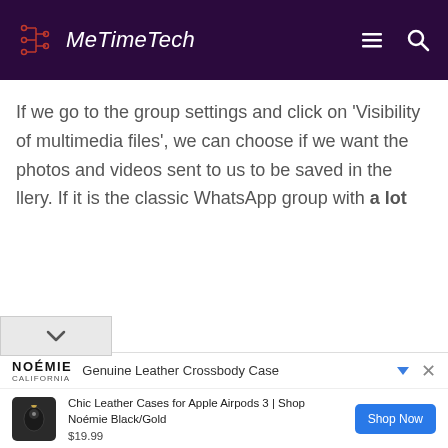MeTimeTech
If we go to the group settings and click on 'Visibility of multimedia files', we can choose if we want the photos and videos sent to us to be saved in the llery. If it is the classic WhatsApp group with a lot
[Figure (screenshot): Advertisement banner: Noémie California - Genuine Leather Crossbody Case. Product: Chic Leather Cases for Apple Airpods 3 | Shop Noémie Black/Gold. Price $19.99. Shop Now button.]